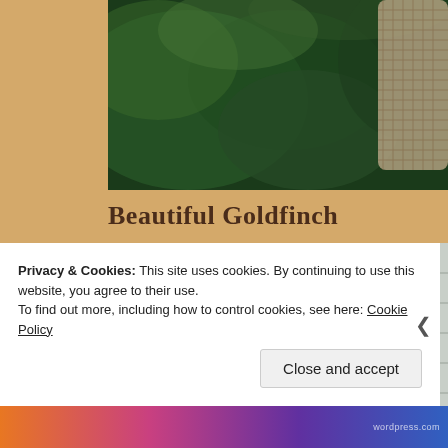[Figure (photo): Top photograph showing a hanging mesh bird feeder bag against a blurred dark green garden background. The mesh feeder is visible at the top right.]
Beautiful Goldfinch
[Figure (photo): Bottom photograph showing a glass globe bird feeder with a brown leather strap hanger, set against a blurred background of green foliage and a light grey fence.]
Privacy & Cookies: This site uses cookies. By continuing to use this website, you agree to their use.
To find out more, including how to control cookies, see here: Cookie Policy
Close and accept